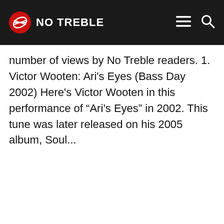NO TREBLE
number of views by No Treble readers. 1. Victor Wooten: Ari's Eyes (Bass Day 2002) Here's Victor Wooten in this performance of “Ari’s Eyes” in 2002. This tune was later released on his 2005 album, Soul...